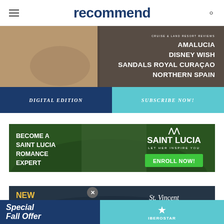recommend
[Figure (photo): Magazine cover banner showing beach scene with text listing cruise and hotel reviews: AMALUCIA, DISNEY WISH, SANDALS ROYAL CURACAO, NORTHERN SPAIN]
DIGITAL EDITION
SUBSCRIBE NOW!
[Figure (photo): Saint Lucia tourism advertisement: BECOME A SAINT LUCIA ROMANCE EXPERT with ENROLL NOW! button. Saint Lucia logo with LET HER INSPIRE YOU tagline.]
[Figure (photo): St. Vincent & The Grenadines tourism advertisement with NEW label in yellow and destination logo]
Special
Fall Offer